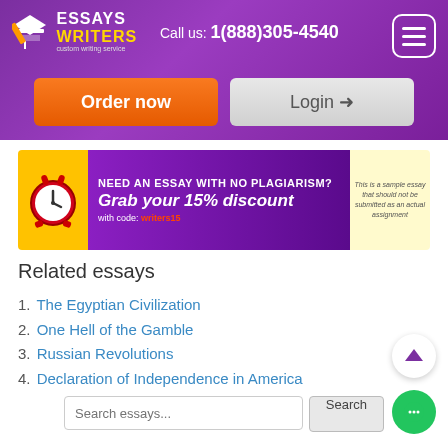[Figure (screenshot): EssaysWriters.com website header with purple gradient background, logo, phone number, Order now and Login buttons]
[Figure (infographic): Banner: NEED AN ESSAY WITH NO PLAGIARISM? Grab your 15% discount with code: writers15, alarm clock graphic, sticky note saying this is a sample essay]
Related essays
1. The Egyptian Civilization
2. One Hell of the Gamble
3. Russian Revolutions
4. Declaration of Independence in America
Search essays... Search